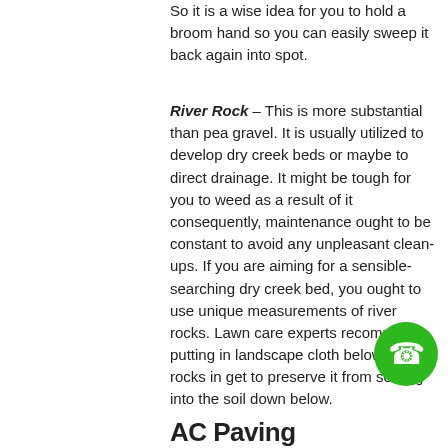So it is a wise idea for you to hold a broom hand so you can easily sweep it back again into spot.
River Rock – This is more substantial than pea gravel. It is usually utilized to develop dry creek beds or maybe to direct drainage. It might be tough for you to weed as a result of it consequently, maintenance ought to be constant to avoid any unpleasant clean-ups. If you are aiming for a sensible-searching dry creek bed, you ought to use unique measurements of river rocks. Lawn care experts recommend putting in landscape cloth below these rocks in get to preserve it from settling into the soil down below.
[Figure (other): Green circular phone/call button icon]
AC Paving